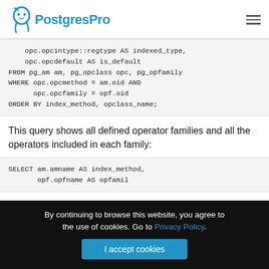PostgresPro
[Figure (other): SQL code snippet showing: opc.opcintype::regtype AS indexed_type, opc.opcdefault AS is_default FROM pg_am am, pg_opclass opc, pg_opfamily WHERE opc.opcmethod = am.oid AND opc.opcfamily = opf.oid ORDER BY index_method, opclass_name;]
This query shows all defined operator families and all the operators included in each family:
[Figure (other): SQL code snippet starting with: SELECT am.amname AS index_method,]
By continuing to browse this website, you agree to the use of cookies. Go to Privacy Policy.